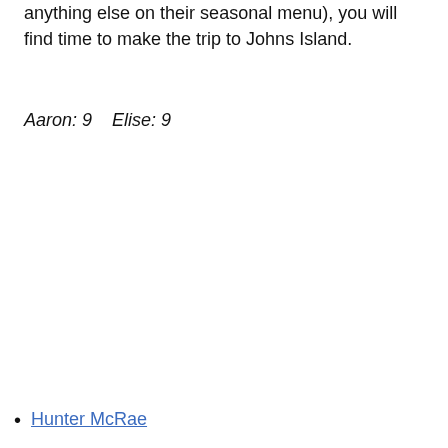anything else on their seasonal menu), you will find time to make the trip to Johns Island.
Aaron: 9    Elise: 9
Hunter McRae